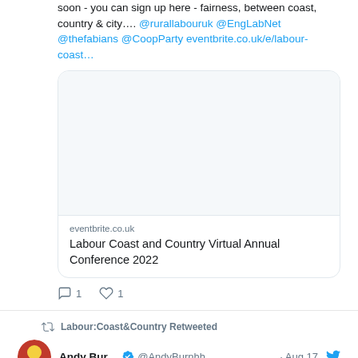soon - you can sign up here - fairness, between coast, country & city…. @rurallabouruk @EngLabNet @thefabians @CoopParty eventbrite.co.uk/e/labour-coast…
[Figure (screenshot): Eventbrite card embed showing blank image area with domain 'eventbrite.co.uk' and title 'Labour Coast and Country Virtual Annual Conference 2022']
1 reply, 1 like
Labour:Coast&Country Retweeted
Andy Bur... @AndyBurnhh... · Aug 17